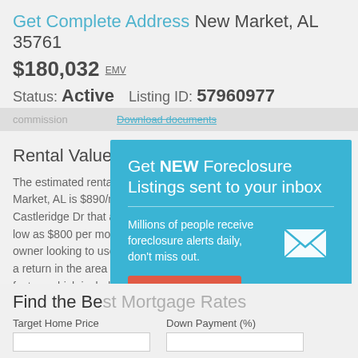Get Complete Address New Market, AL 35761
$180,032 EMV
Status: Active    Listing ID: 57960977
Download documents
Rental Value
The estimated rental... Market, AL is $890/m... Castleridge Dr that a... low as $800 per mo... owner looking to use... a return in the area d... factors which include... etc. Sign in to view a... as the Average Mark...
[Figure (infographic): Popup overlay: 'Get NEW Foreclosure Listings sent to your inbox' with email signup form, envelope icon, Signup Here button, No Thanks | Remind Me Later links]
Find the Best Mortgage Rates
Target Home Price    Down Payment (%)